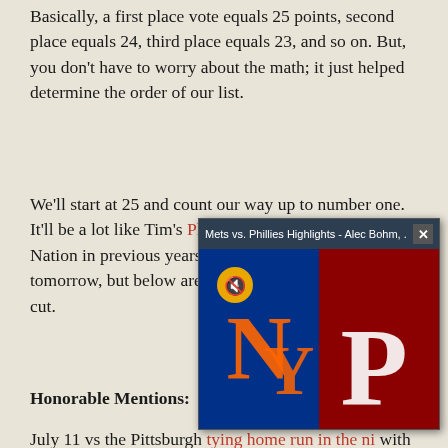Basically, a first place vote equals 25 points, second place equals 24, third place equals 23, and so on.  But, you don't have to worry about the math; it just helped determine the order of our list.
We'll start at 25 and count our way up to number one.  It'll be a lot like Tim's Phandom 25, seen on Phillies Nation in previous years.  25 will be released tomorrow, but below are the ones that did not make the cut.
Honorable Mentions:
[Figure (screenshot): Video popup overlay showing 'Mets vs. Phillies Highlights - Alec Bohm, ...' with a mute button icon and Mets/Phillies logos on a dark background.]
July 11 vs the Pittsburgh tying home run in the ni with a walk-off single.  P